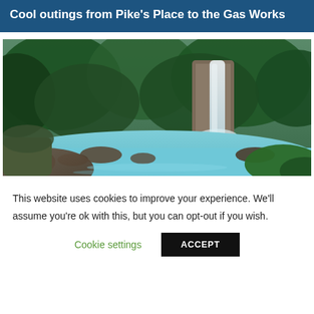Cool outings from Pike's Place to the Gas Works
[Figure (photo): A waterfall flowing into a blue-green pool surrounded by lush green tropical vegetation and rocks]
This website uses cookies to improve your experience. We'll assume you're ok with this, but you can opt-out if you wish.
Cookie settings   ACCEPT